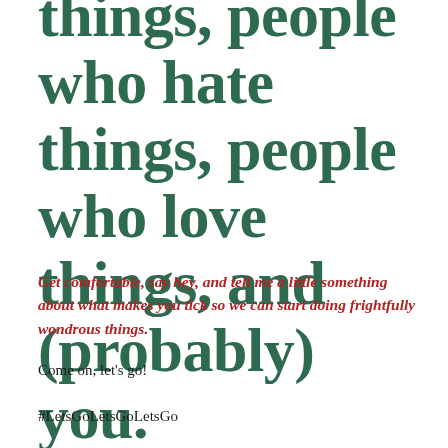things, people who hate things, people who love things, and (probably) you.
Get comfortable, say hey, and tell me a little something about what makes you tick so we can start doing frightfully wondrous things.
Come on, let’s go!
#LetsGoLetsGoLetsGo